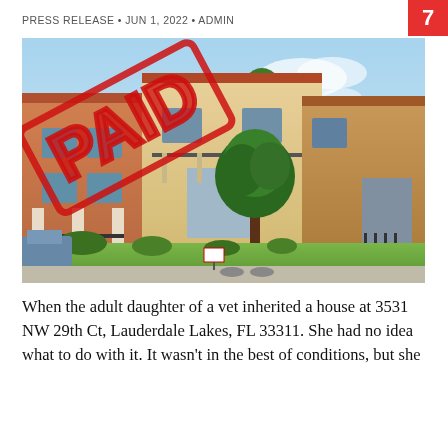7
PRESS RELEASE • JUN 1, 2022 • ADMIN
[Figure (photo): Exterior photo of a two-story townhouse complex at 3531 NW 29th Ct, Lauderdale Lakes, FL 33311, with a large tree in front and green lawn. A red 'PAID' stamp is overlaid diagonally on the upper-left portion of the image.]
When the adult daughter of a vet inherited a house at 3531 NW 29th Ct, Lauderdale Lakes, FL 33311. She had no idea what to do with it. It wasn't in the best of conditions, but she